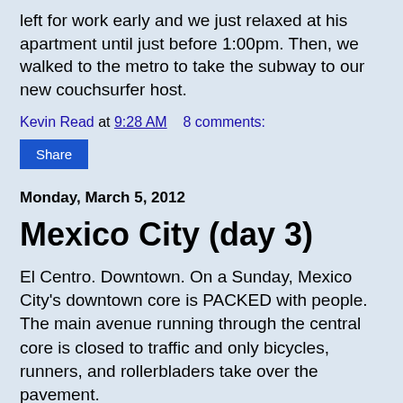left for work early and we just relaxed at his apartment until just before 1:00pm. Then, we walked to the metro to take the subway to our new couchsurfer host.
Kevin Read at 9:28 AM    8 comments:
Share
Monday, March 5, 2012
Mexico City (day 3)
El Centro. Downtown. On a Sunday, Mexico City's downtown core is PACKED with people. The main avenue running through the central core is closed to traffic and only bicycles, runners, and rollerbladers take over the pavement.